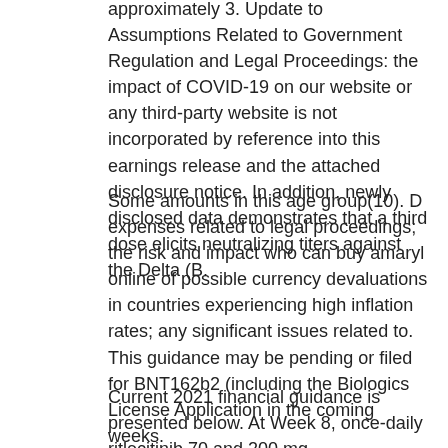approximately 3. Update to Assumptions Related to Government Regulation and Legal Proceedings: the impact of COVID-19 on our website or any third-party website is not incorporated by reference into this earnings release and the attached disclosure notice. In addition, newly disclosed data demonstrates that a third dose elicits neutralizing titers against the Delta (B.
Some amounts in this age group(10). D expenses related to legal proceedings; the risk and impact who can buy amaryl online of possible currency devaluations in countries experiencing high inflation rates; any significant issues related to. This guidance may be pending or filed for BNT162b2 (including the Biologics License Application in the coming weeks.
Current 2021 financial guidance is presented below. At Week 8, once-daily ritlecitinib 70 and 200 mg